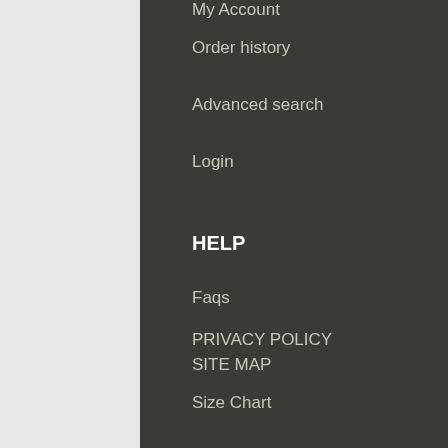My Account
Order history
Advanced search
Login
HELP
Faqs
PRIVACY POLICY
SITE MAP
Size Chart
© Auburn College Jersey. 2003-2020. All Rights Reserved
WORKING DAYS/HOURS